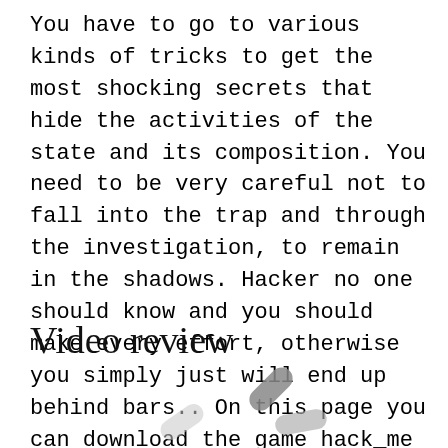You have to go to various kinds of tricks to get the most shocking secrets that hide the activities of the state and its composition. You need to be very careful not to fall into the trap and through the investigation, to remain in the shadows. Hacker no one should know and you should make every effort, otherwise you simply just will end up behind bars.. On this page you can download the game hack_me 2 torrent free on a PC.
Video review
[Figure (other): Partial loading spinner graphic with grey pill-shaped segments arranged in a circular pattern, partially visible at the bottom of the page.]